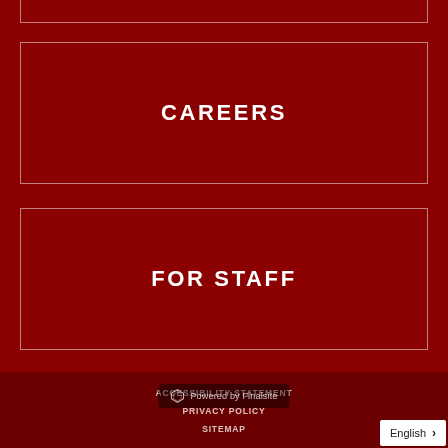[Figure (other): Partially visible red box at top of page, cut off]
CAREERS
FOR STAFF
ACCESSIBILITY STATEMENT
PRIVACY POLICY
SITEMAP
[Figure (logo): Powered by Finalsite badge with Finalsite hexagonal logo icon]
English >